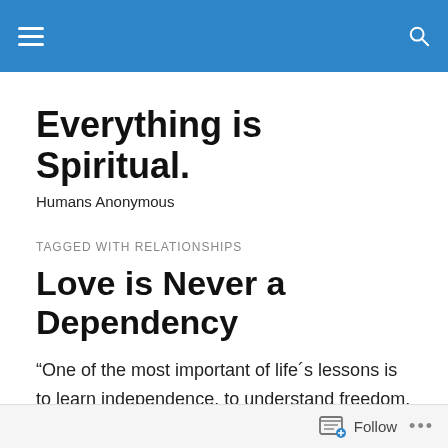Everything is Spiritual. — site header bar with hamburger menu and search icon
Everything is Spiritual.
Humans Anonymous
TAGGED WITH RELATIONSHIPS
Love is Never a Dependency
“One of the most important of life´s lessons is to learn independence, to understand freedom. This means independence from attachments, from results, from opinions, and from expectations. Breaking attachments
Follow